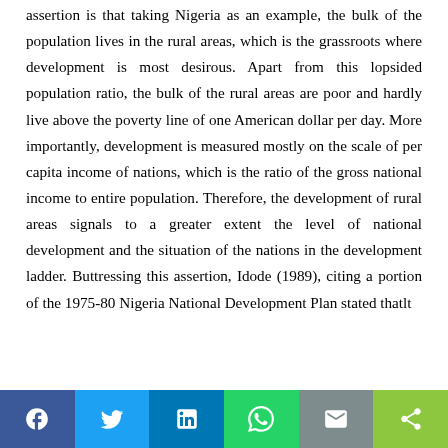assertion is that taking Nigeria as an example, the bulk of the population lives in the rural areas, which is the grassroots where development is most desirous. Apart from this lopsided population ratio, the bulk of the rural areas are poor and hardly live above the poverty line of one American dollar per day. More importantly, development is measured mostly on the scale of per capita income of nations, which is the ratio of the gross national income to entire population. Therefore, the development of rural areas signals to a greater extent the level of national development and the situation of the nations in the development ladder. Buttressing this assertion, Idode (1989), citing a portion of the 1975-80 Nigeria National Development Plan stated thatlt
[Figure (other): Social media sharing bar with buttons: Facebook (f), Twitter (bird), LinkedIn (in), WhatsApp (phone), Email (envelope), Share (network)]